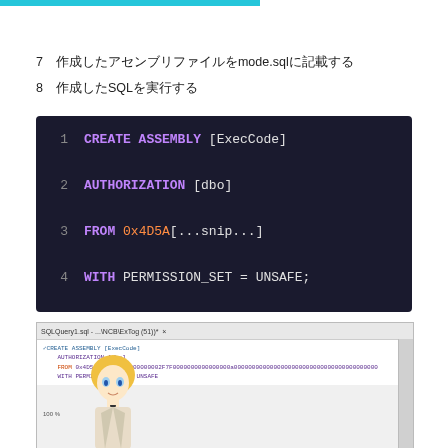7　作成したアセンブリファイルをmode.sqlに記載する
8　作成したSQLを実行する
[Figure (screenshot): Code block showing SQL CREATE ASSEMBLY statement with syntax highlighting on dark background. Lines: 1) CREATE ASSEMBLY [ExecCode] 2) AUTHORIZATION [dbo] 3) FROM 0x4D5A[...snip...] 4) WITH PERMISSION_SET = UNSAFE;]
[Figure (screenshot): SQL Server Management Studio screenshot showing the CREATE ASSEMBLY query open in editor, with an anime character mascot visible in the lower left corner.]